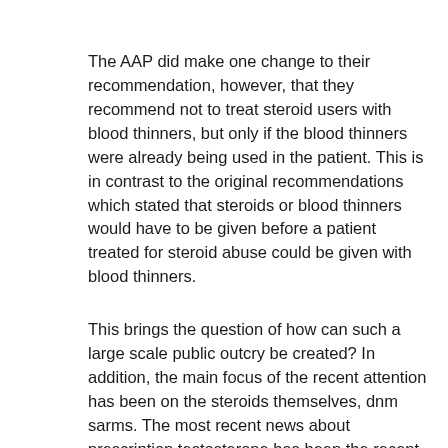The AAP did make one change to their recommendation, however, that they recommend not to treat steroid users with blood thinners, but only if the blood thinners were already being used in the patient. This is in contrast to the original recommendations which stated that steroids or blood thinners would have to be given before a patient treated for steroid abuse could be given with blood thinners.
This brings the question of how can such a large scale public outcry be created? In addition, the main focus of the recent attention has been on the steroids themselves, dnm sarms. The most recent news about prescription testosterone has been the recent news about an Oklahoma State University study that found a